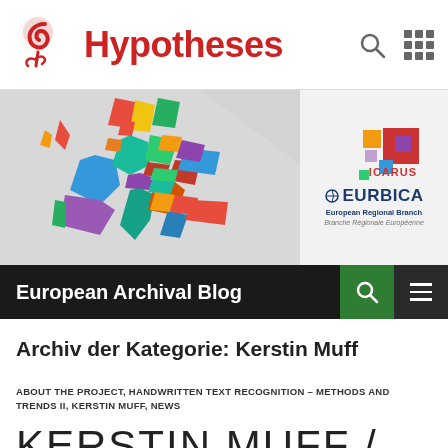Hypotheses
[Figure (screenshot): European map with colorful country regions and ICARUS / EURBICA European Regional Branch logo]
European Archival Blog
Archiv der Kategorie: Kerstin Muff
ABOUT THE PROJECT, HANDWRITTEN TEXT RECOGNITION – METHODS AND TRENDS II, KERSTIN MUFF, NEWS
KERSTIN MUFF / ELISABETH